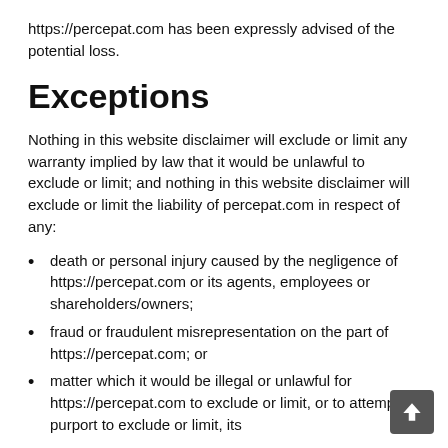https://percepat.com has been expressly advised of the potential loss.
Exceptions
Nothing in this website disclaimer will exclude or limit any warranty implied by law that it would be unlawful to exclude or limit; and nothing in this website disclaimer will exclude or limit the liability of percepat.com in respect of any:
death or personal injury caused by the negligence of https://percepat.com or its agents, employees or shareholders/owners;
fraud or fraudulent misrepresentation on the part of https://percepat.com; or
matter which it would be illegal or unlawful for https://percepat.com to exclude or limit, or to attempt or purport to exclude or limit, its